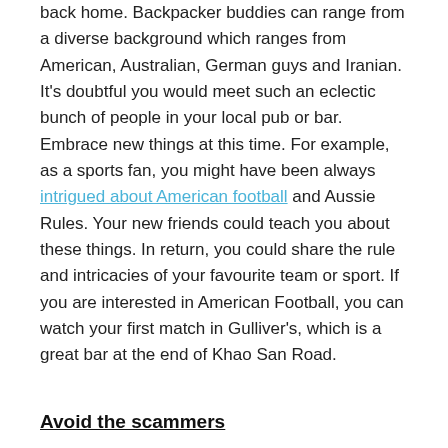back home. Backpacker buddies can range from a diverse background which ranges from American, Australian, German guys and Iranian. It's doubtful you would meet such an eclectic bunch of people in your local pub or bar. Embrace new things at this time. For example, as a sports fan, you might have been always intrigued about American football and Aussie Rules. Your new friends could teach you about these things. In return, you could share the rule and intricacies of your favourite team or sport. If you are interested in American Football, you can watch your first match in Gulliver's, which is a great bar at the end of Khao San Road.
Avoid the scammers
It's no big secret that there are a lot of people who are out there trying to scam tourists. But with a little bit of street knowledge you can avoid being the victim. Double pricing is one of the easiest things to avoid in Thailand. If you seem like you're fresh off the plane, then it's more